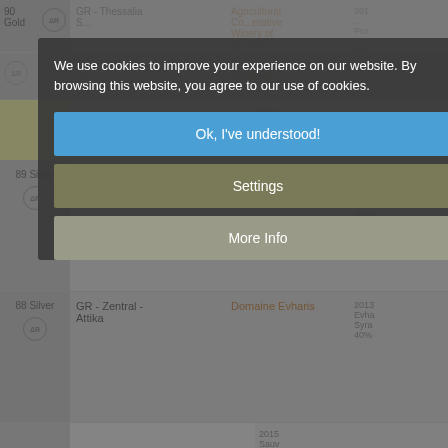We use cookies to improve your experience on our website. By browsing this website, you agree to our use of cookies.
Ok, I've understood!
Settings
More Info
| Score | Region | Producer | Info |
| --- | --- | --- | --- |
| 90 Gold | GR - Thessalia - Rapsani | Evangelos Tsantalis | 2014 Chro Athos Kras g.U. |
| 89 Silver | GR - Makedonia - Athos | Evangelos Tsantalis | 2014 Chro Atho Cabe Sauv |
| 88 Silver | GR - Zentral - Attika | Domaine Evharis | 2013 Evha Syra 40% |
|  |  |  | 2015 Sauv |